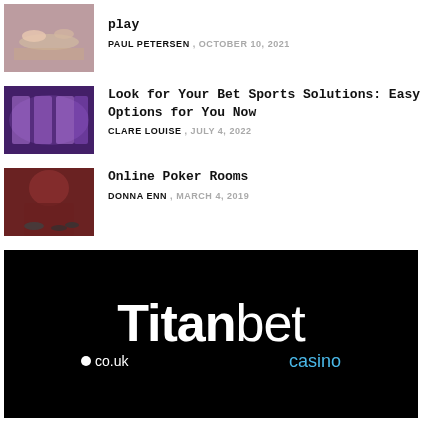play — PAUL PETERSEN, OCTOBER 10, 2021
Look for Your Bet Sports Solutions: Easy Options for You Now — CLARE LOUISE, JULY 4, 2022
Online Poker Rooms — DONNA ENN, MARCH 4, 2019
[Figure (logo): Titanbet.co.uk casino logo on black background — white bold 'Titan' next to thinner 'bet', with '.co.uk' below left and 'casino' in blue below right]